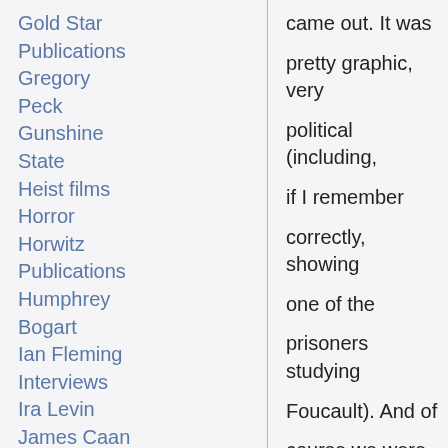Gold Star Publications
Gregory Peck
Gunshine State
Heist films
Horror
Horwitz Publications
Humphrey Bogart
Ian Fleming
Interviews
Ira Levin
James Caan
James Crumley
James Ellroy
came out. It was pretty graphic, very political (including, if I remember correctly, showing one of the prisoners studying Foucault). And of course we were also fascinated to see Nick Cave play a pyscho prison